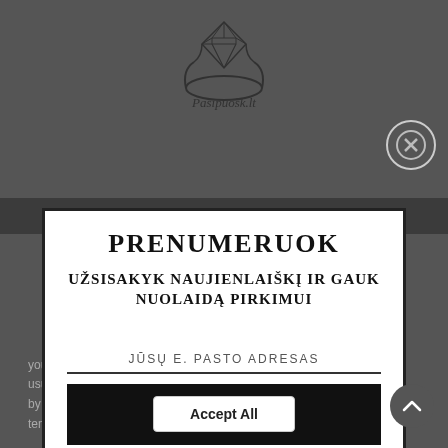[Figure (logo): Diamond ring logo with text 'Pasipuošk.lt' in script font, line art of a ring with diamond shape above it]
PRENUMERUOK
UŽSISAKYK NAUJIENLAIŠKĮ IR GAUK NUOLAIDĄ PIRKIMUI
JŪSŲ E. PASTO ADRESAS
UŽSISAKYTI
Powered by omnisend
you should need to find out more about the cookies we use. View Cookies Policy. usually a stone can be broken by extreme heat or sudden changes in temperature. Use a damp cloth to
Accept All